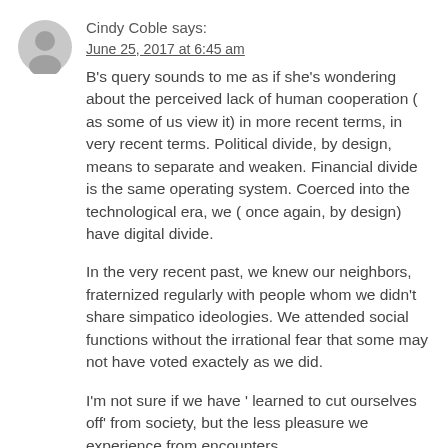Cindy Coble says:
June 25, 2017 at 6:45 am
B's query sounds to me as if she's wondering about the perceived lack of human cooperation ( as some of us view it) in more recent terms, in very recent terms. Political divide, by design, means to separate and weaken. Financial divide is the same operating system. Coerced into the technological era, we ( once again, by design) have digital divide.
In the very recent past, we knew our neighbors, fraternized regularly with people whom we didn't share simpatico ideologies. We attended social functions without the irrational fear that some may not have voted exactely as we did.
I'm not sure if we have ' learned to cut ourselves off' from society, but the less pleasure we experience from encounters